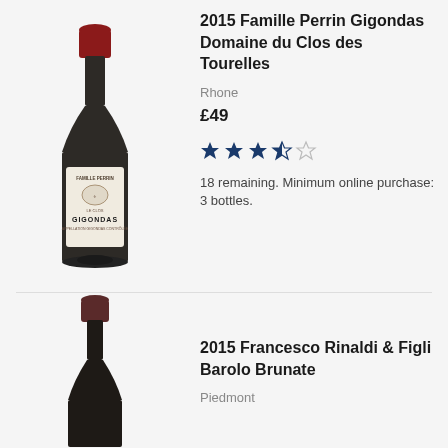[Figure (illustration): Wine bottle: 2015 Famille Perrin Gigondas Domaine du Clos des Tourelles, dark glass red wine bottle with red foil cap and Gigondas label]
2015 Famille Perrin Gigondas Domaine du Clos des Tourelles
Rhone
£49
[Figure (other): 3.5 out of 5 stars rating]
18 remaining. Minimum online purchase: 3 bottles.
[Figure (illustration): Wine bottle (partial): 2015 Francesco Rinaldi & Figli Barolo Brunate, dark bottle with dark foil top]
2015 Francesco Rinaldi & Figli Barolo Brunate
Piedmont